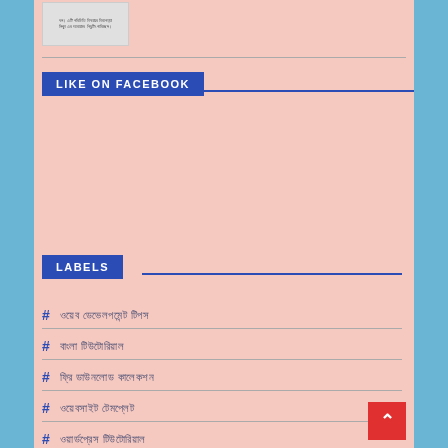[Figure (screenshot): Small thumbnail image with Bengali text]
LIKE ON FACEBOOK
LABELS
# ওয়েব ডেভেলপমেন্ট টিপস
# বাংলা টিউটোরিয়াল
# ফ্রি ডাউনলোড কালেকশন
# ওয়েবসাইট টেমপ্লেট
# ওয়ার্ডপ্রেস টিউটোরিয়াল
# ইন্টারনেটটেক